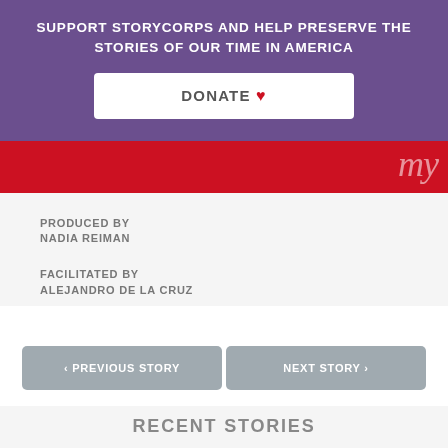SUPPORT STORYCORPS AND HELP PRESERVE THE STORIES OF OUR TIME IN AMERICA
DONATE ♥
PRODUCED BY
NADIA REIMAN
FACILITATED BY
ALEJANDRO DE LA CRUZ
< PREVIOUS STORY
NEXT STORY >
RECENT STORIES